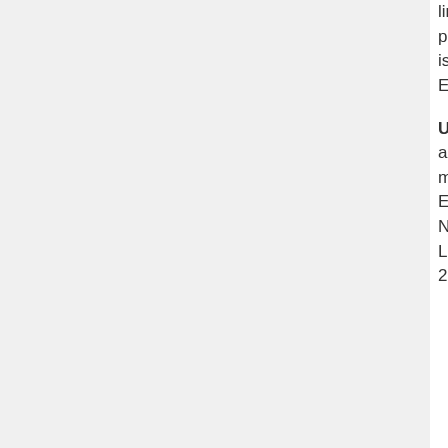linguists all around the world are potential users of BNCWeb, which is a basic reference resource for the English language.
Use case 2: BNCWeb will be used as the main resource for teaching a masters course in 'Exploring English Usage' in October-November 2012, and 'Corpus Linguistics' in February-March 2013. Users will submit queries in